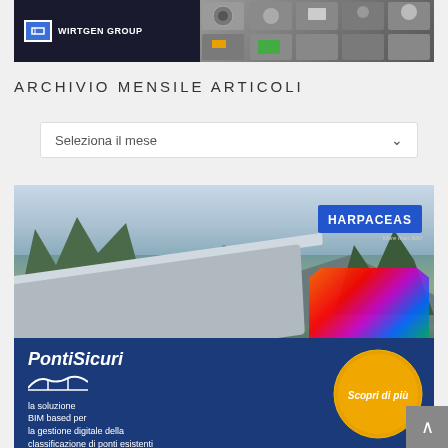[Figure (photo): Wirtgen Group banner advertisement showing tools/machinery parts on dark background]
ARCHIVIO MENSILE ARTICOLI
Seleziona il mese
[Figure (photo): Harpaceas advertisement for PontiSicuri - BIM based solution for digital management of bridge classification. Shows aerial bridge photo with mountain backdrop, Harpaceas logo, and 'Scopri di più' badge with colorful heat map visualization]
PontiSicuri
la soluzione BIM based per
la gestione digitale della
classificazione di ponti esistenti